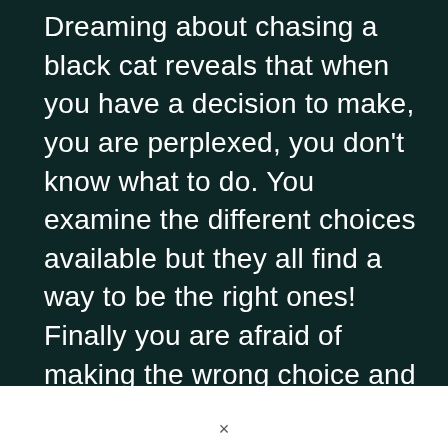Dreaming about chasing a black cat reveals that when you have a decision to make, you are perplexed, you don't know what to do. You examine the different choices available but they all find a way to be the right ones! Finally you are afraid of making the wrong choice and regretting it.
×